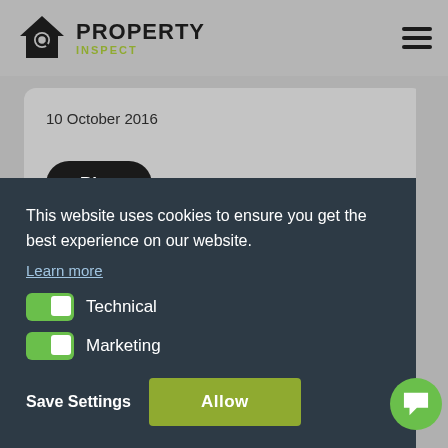PROPERTY INSPECT
10 October 2016
Blog
This website uses cookies to ensure you get the best experience on our website.
Learn more
Technical
Marketing
Save Settings
Allow